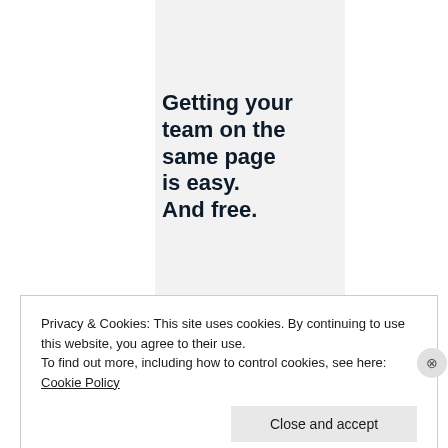Getting your team on the same page is easy. And free.
Privacy & Cookies: This site uses cookies. By continuing to use this website, you agree to their use.
To find out more, including how to control cookies, see here:
Cookie Policy